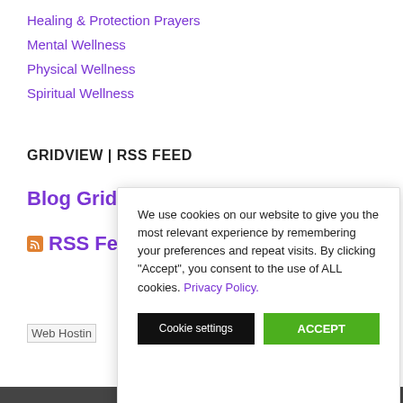Healing & Protection Prayers
Mental Wellness
Physical Wellness
Spiritual Wellness
GRIDVIEW | RSS FEED
Blog Gridview
RSS Feed
[Figure (screenshot): Web Hosting image placeholder]
We use cookies on our website to give you the most relevant experience by remembering your preferences and repeat visits. By clicking “Accept”, you consent to the use of ALL cookies. Privacy Policy.
Cookie settings   ACCEPT